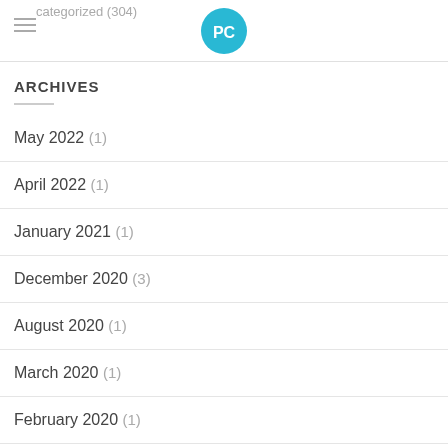Uncategorized (304)
ARCHIVES
May 2022 (1)
April 2022 (1)
January 2021 (1)
December 2020 (3)
August 2020 (1)
March 2020 (1)
February 2020 (1)
December 2019 (2)